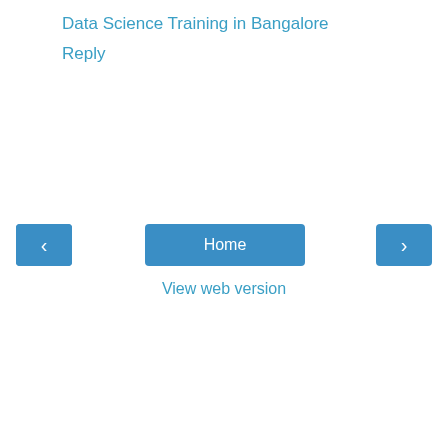Data Science Training in Bangalore
Reply
Home
View web version